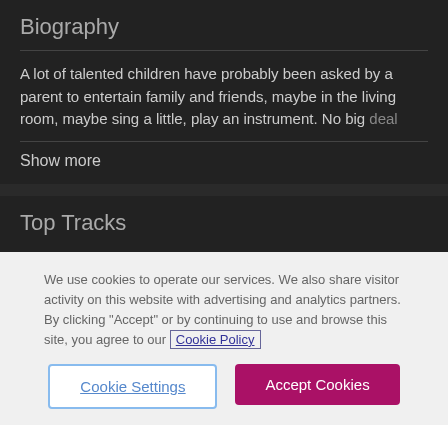Biography
A lot of talented children have probably been asked by a parent to entertain family and friends, maybe in the living room, maybe sing a little, play an instrument. No big deal
Show more
Top Tracks
We use cookies to operate our services. We also share visitor activity on this website with advertising and analytics partners. By clicking "Accept" or by continuing to use and browse this site, you agree to our Cookie Policy
Cookie Settings
Accept Cookies